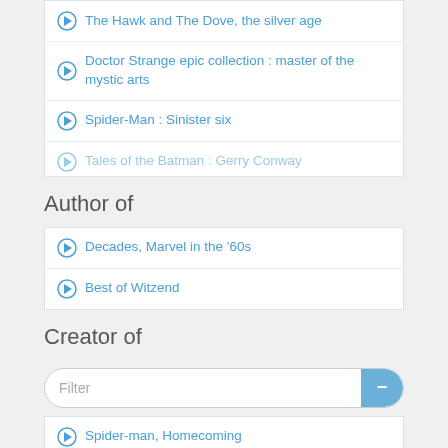The Hawk and The Dove, the silver age
Doctor Strange epic collection : master of the mystic arts
Spider-Man : Sinister six
Tales of the Batman : Gerry Conway
Author of
Decades, Marvel in the '60s
Best of Witzend
Creator of
Filter
Spider-man, Homecoming
The Amazing Spider-Man, Issue 86-104, The death of Captain Stacy